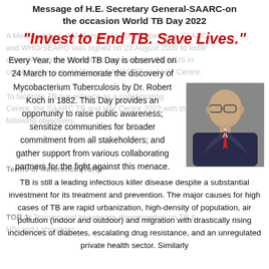Message of H.E. Secretary General-SAARC-on the occasion World TB Day 2022
"Invest to End TB. Save Lives."
[Figure (photo): Portrait photo of H.E. Secretary General SAARC, a man in dark suit with red tie and glasses]
Every Year, the World TB Day is observed on 24 March to commemorate the discovery of Mycobacterium Tuberculosis by Dr. Robert Koch in 1882. This Day provides an opportunity to raise public awareness; sensitize communities for broader commitment from all stakeholders; and gather support from various collaborating partners for the fight against this menace.
TB is still a leading infectious killer disease despite a substantial investment for its treatment and prevention. The major causes for high cases of TB are rapid urbanization, high-density of population, air pollution (indoor and outdoor) and migration with drastically rising incidences of diabetes, escalating drug resistance, and an unregulated private health sector. Similarly